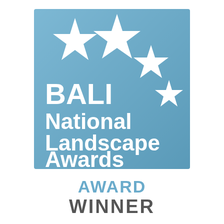[Figure (logo): BALI National Landscape Awards logo: blue-steel square background with four white five-pointed stars arranged in a descending arc at top-right, and bold white text reading 'BALI National Landscape Awards']
AWARD WINNER